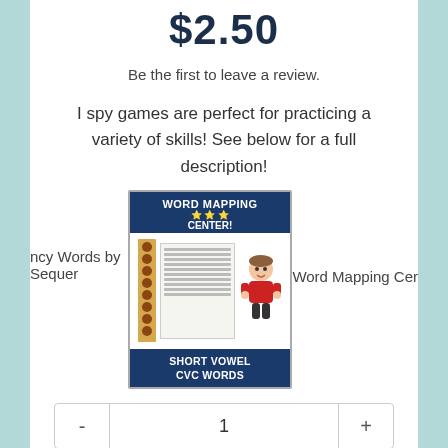$2.50
Be the first to leave a review.
I spy games are perfect for practicing a variety of skills! See below for a full description!
[Figure (illustration): Thumbnail image of a Word Mapping Center product for Short Vowel CVC Words, showing a cartoon child with worksheets]
ncy Words by Sequence
Word Mapping Cer
- 1 +
Add to cart